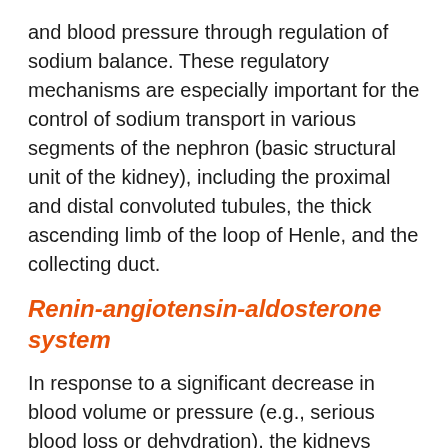and blood pressure through regulation of sodium balance. These regulatory mechanisms are especially important for the control of sodium transport in various segments of the nephron (basic structural unit of the kidney), including the proximal and distal convoluted tubules, the thick ascending limb of the loop of Henle, and the collecting duct.
Renin-angiotensin-aldosterone system
In response to a significant decrease in blood volume or pressure (e.g., serious blood loss or dehydration), the kidneys release renin into the circulation. Renin is an enzyme that splits a small peptide (angiotensin I) from a larger protein (angiotensinogen) produced by the liver. Angiotensin I is split into a smaller peptide (angiotensin II) by angiotensin converting enzyme (ACE), an enzyme present on the inner surface of blood vessels and in the lungs, liver, and kidneys. Angiotensin II stimulates the